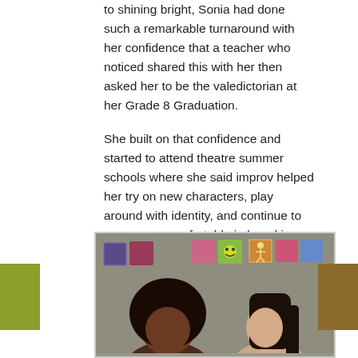to shining bright, Sonia had done such a remarkable turnaround with her confidence that a teacher who noticed shared this with her then asked her to be the valedictorian at her Grade 8 Graduation.
She built on that confidence and started to attend theatre summer schools where she said improv helped her try on new characters, play around with identity, and continue to grow more comfortable in her skin.
She also spent time working at Legal Aid alongside her mother. “If I hadn’t of gone to film school I would have gone to school for social work.” A keen sense of social justice, she takes her role as an artist seriously developing projects that can help kids struggling with their identity and place in the world.
[Figure (photo): Two young women photographed from chest up against a wall with colourful artwork squares pinned to it. Left person has large curly dark hair; right person has straight dark hair.]